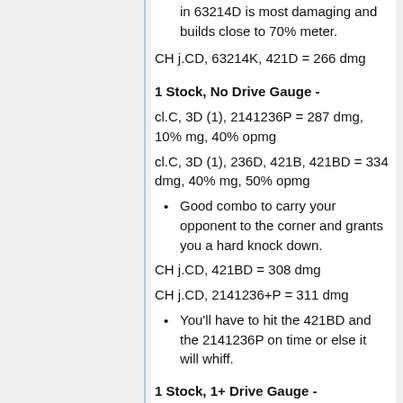in 63214D is most damaging and builds close to 70% meter.
CH j.CD, 63214K, 421D = 266 dmg
1 Stock, No Drive Gauge -
cl.C, 3D (1), 2141236P = 287 dmg, 10% mg, 40% opmg
cl.C, 3D (1), 236D, 421B, 421BD = 334 dmg, 40% mg, 50% opmg
Good combo to carry your opponent to the corner and grants you a hard knock down.
CH j.CD, 421BD = 308 dmg
CH j.CD, 2141236+P = 311 dmg
You'll have to hit the 421BD and the 2141236P on time or else it will whiff.
1 Stock, 1+ Drive Gauge -